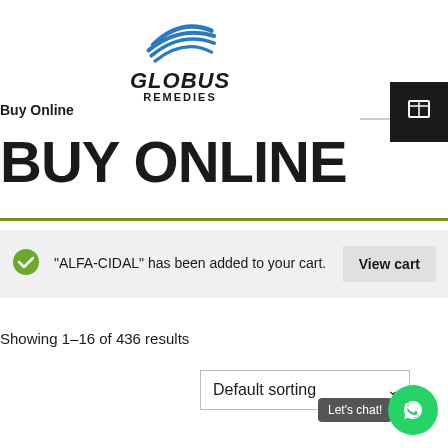[Figure (logo): Globus Remedies logo with blue swoosh lines above text]
Buy Online
BUY ONLINE
"ALFA-CIDAL" has been added to your cart.
Showing 1–16 of 436 results
Default sorting